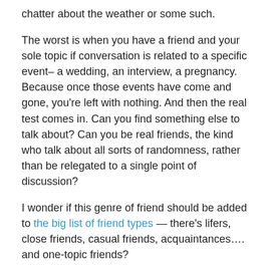chatter about the weather or some such.
The worst is when you have a friend and your sole topic if conversation is related to a specific event– a wedding, an interview, a pregnancy. Because once those events have come and gone, you're left with nothing. And then the real test comes in. Can you find something else to talk about? Can you be real friends, the kind who talk about all sorts of randomness, rather than be relegated to a single point of discussion?
I wonder if this genre of friend should be added to the big list of friend types — there's lifers, close friends, casual friends, acquaintances…. and one-topic friends?
You tell me. Anyone have any one-topic friends? Does it bother you? What's your topic of choice?